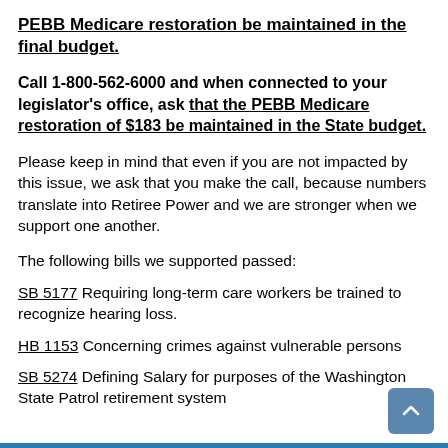PEBB Medicare restoration be maintained in the final budget.
Call 1-800-562-6000 and when connected to your legislator's office, ask that the PEBB Medicare restoration of $183 be maintained in the State budget.
Please keep in mind that even if you are not impacted by this issue, we ask that you make the call, because numbers translate into Retiree Power and we are stronger when we support one another.
The following bills we supported passed:
SB 5177 Requiring long-term care workers be trained to recognize hearing loss.
HB 1153 Concerning crimes against vulnerable persons
SB 5274 Defining Salary for purposes of the Washington State Patrol retirement system